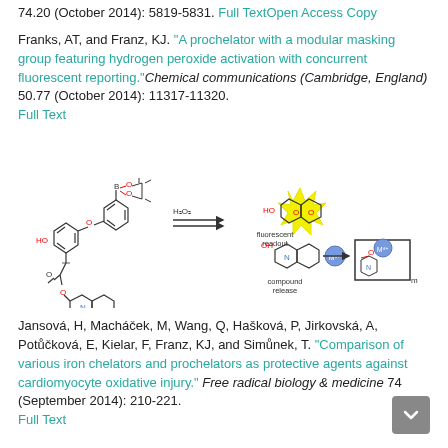74.20 (October 2014): 5819-5831. Full Text Open Access Copy
Franks, AT, and Franz, KJ. "A prochelator with a modular masking group featuring hydrogen peroxide activation with concurrent fluorescent reporting." Chemical communications (Cambridge, England) 50.77 (October 2014): 11317-11320. Full Text
[Figure (illustration): Chemical reaction diagram showing BCQ prochelator reacting with H2O2 to produce a fluorescent readout (umbelliferone-like compound shown in yellow with starburst) and compound release (metal chelating product coordinating M^n+).]
Jansova, H, Machacek, M, Wang, Q, Haskova, P, Jirkovska, A, Potuckova, E, Kielar, F, Franz, KJ, and Simunek, T. "Comparison of various iron chelators and prochelators as protective agents against cardiomyocyte oxidative injury." Free radical biology & medicine 74 (September 2014): 210-221. Full Text